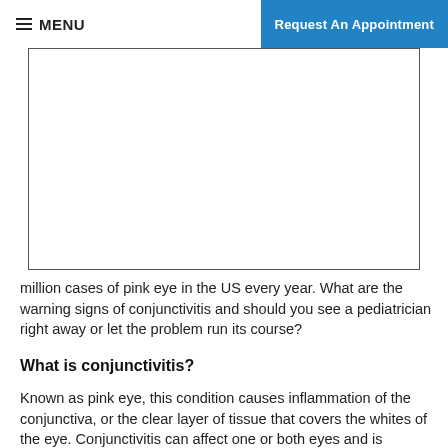≡ MENU  |  Request An Appointment
[Figure (photo): Blank white image placeholder with black border — likely a photo of pink eye / conjunctivitis]
million cases of pink eye in the US every year. What are the warning signs of conjunctivitis and should you see a pediatrician right away or let the problem run its course?
What is conjunctivitis?
Known as pink eye, this condition causes inflammation of the conjunctiva, or the clear layer of tissue that covers the whites of the eye. Conjunctivitis can affect one or both eyes and is extremely contagious. It's most commonly